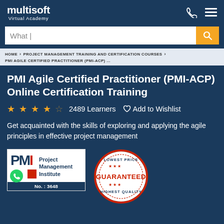multisoft Virtual Academy
What |
HOME > PROJECT MANAGEMENT TRAINING AND CERTIFICATION COURSES > PMI AGILE CERTIFIED PRACTITIONER (PMI-ACP) ...
PMI Agile Certified Practitioner (PMI-ACP) Online Certification Training
2489 Learners  Add to Wishlist
Get acquainted with the skills of exploring and applying the agile principles in effective project management
[Figure (logo): PMI Project Management Institute logo badge with No.: 3648]
[Figure (infographic): Lowest Price Guaranteed Highest Quality circular badge]